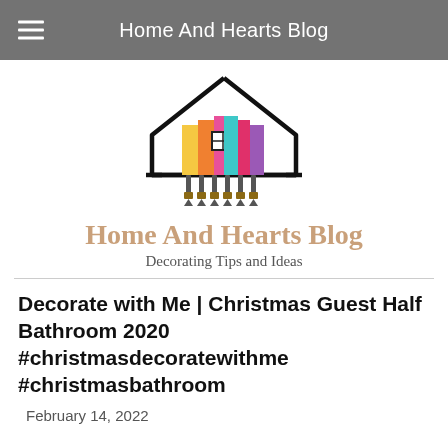Home And Hearts Blog
[Figure (logo): Home And Hearts Blog logo: outline of a house with colorful vertical paint-chip strips (pink, teal, orange, yellow, purple) inside and paint brushes hanging below]
Home And Hearts Blog
Decorating Tips and Ideas
Decorate with Me | Christmas Guest Half Bathroom 2020 #christmasdecoratewithme #christmasbathroom
February 14, 2022